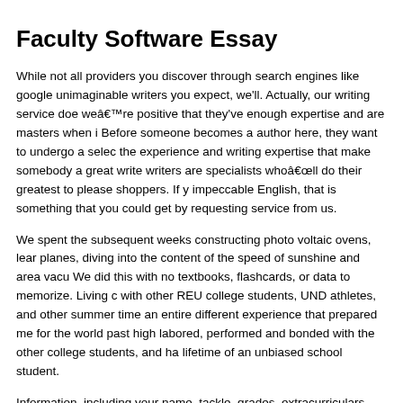Faculty Software Essay
While not all providers you discover through search engines like google unimaginable writers you expect, we'll. Actually, our writing service doe weâre positive that they've enough expertise and are masters when i Before someone becomes a author here, they want to undergo a selec the experience and writing expertise that make somebody a great write writers are specialists whoâll do their greatest to please shoppers. If y impeccable English, that is something that you could get by requesting service from us.
We spent the subsequent weeks constructing photo voltaic ovens, lear planes, diving into the content of the speed of sunshine and area vacu We did this with no textbooks, flashcards, or data to memorize. Living c with other REU college students, UND athletes, and other summer time an entire different experience that prepared me for the world past high labored, performed and bonded with the other college students, and ha lifetime of an unbiased school student.
Information, including your name, tackle, grades, extracurriculars, and be entered one time so that you donât should spend further time inpu